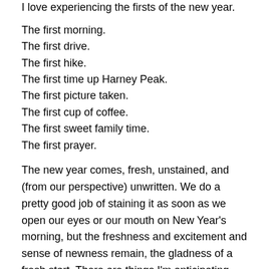I love experiencing the firsts of the new year.
The first morning.
The first drive.
The first hike.
The first time up Harney Peak.
The first picture taken.
The first cup of coffee.
The first sweet family time.
The first prayer.
The new year comes, fresh, unstained, and (from our perspective) unwritten. We do a pretty good job of staining it as soon as we open our eyes or our mouth on New Year’s morning, but the freshness and excitement and sense of newness remain, the gladness of a fresh start. There are things I’m anticipating, things I’m excited about,